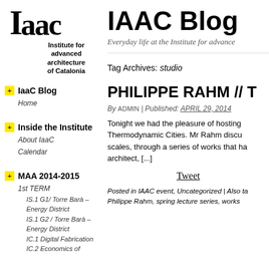[Figure (logo): IAAC logo with large serif letters 'Iaac' and subtitle 'Institute for advanced architecture of Catalonia']
+ IaaC Blog
Home
+ Inside the Institute
About IaaC
Calendar
+ MAA 2014-2015
1st TERM
IS.1 G1/ Torre Barà – Energy District
IS.1 G2 / Torre Barà – Energy District
IC.1 Digital Fabrication
IC.2 Economics of
IAAC Blog
Everyday life at the Institute for advance
Tag Archives: studio
PHILIPPE RAHM // T
By ADMIN | Published: APRIL 29, 2014
Tonight we had the pleasure of hosting Thermodynamic Cities. Mr Rahm discu scales, through a series of works that ha architect, [...]
Tweet
Posted in IAAC event, Uncategorized | Also ta Philippe Rahm, spring lecture series, works